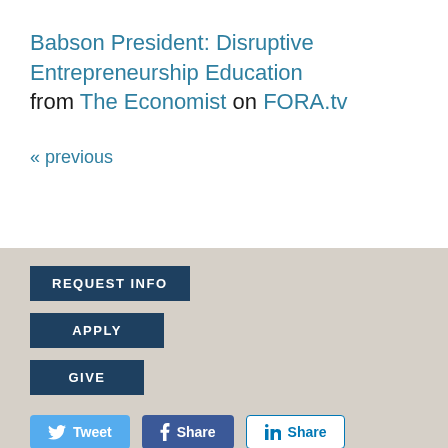Babson President: Disruptive Entrepreneurship Education from The Economist on FORA.tv
« previous
REQUEST INFO
APPLY
GIVE
Tweet  Share  Share  RSS